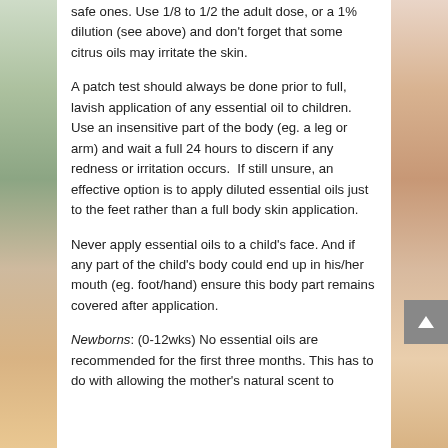safe ones. Use 1/8 to 1/2 the adult dose, or a 1% dilution (see above) and don't forget that some citrus oils may irritate the skin.
A patch test should always be done prior to full, lavish application of any essential oil to children. Use an insensitive part of the body (eg. a leg or arm) and wait a full 24 hours to discern if any redness or irritation occurs. If still unsure, an effective option is to apply diluted essential oils just to the feet rather than a full body skin application.
Never apply essential oils to a child's face. And if any part of the child's body could end up in his/her mouth (eg. foot/hand) ensure this body part remains covered after application.
Newborns: (0-12wks) No essential oils are recommended for the first three months. This has to do with allowing the mother's natural scent to